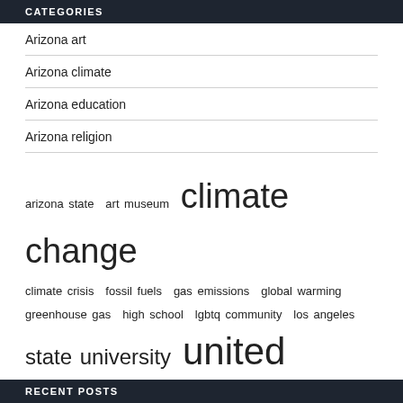CATEGORIES
Arizona art
Arizona climate
Arizona education
Arizona religion
[Figure (infographic): Tag cloud with terms: arizona state, art museum, climate change (largest), climate crisis, fossil fuels, gas emissions, global warming, greenhouse gas, high school, lgbtq community, los angeles, state university, united states (very large), university arizona, works art]
RECENT POSTS